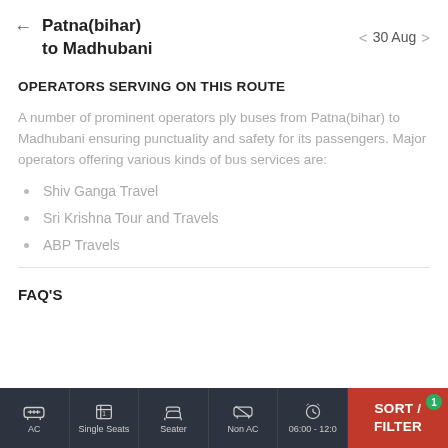Patna(bihar) to Madhubani  30 Aug
OPERATORS SERVING ON THIS ROUTE
A number of prominent operators ply buses from Patna(bihar) to Madhubani ensuring punctuality and safety for its passengers. Major operators offering various kinds of bus services are:
Shiv Ganga Travel
Sri Krishna Tour and Travels
ABP Travels
FAQ'S